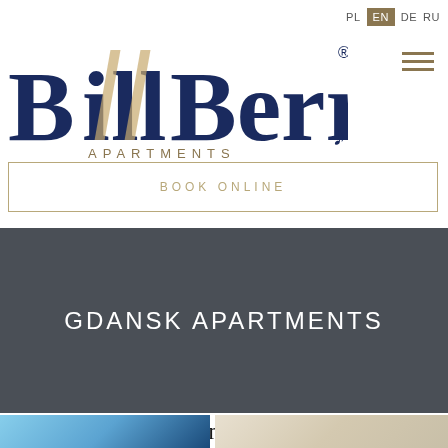PL EN DE RU
[Figure (logo): BillBerry Apartments logo — 'Bill' in navy serif with gold diagonal striped 'l' letters, 'Berry' in navy serif, registered trademark symbol, 'APARTMENTS' in small spaced gold letters below]
BOOK ONLINE
GDANSK APARTMENTS
Luxury Apartments in Gdańsk
[Figure (photo): Two apartment interior/exterior preview images at bottom of page]